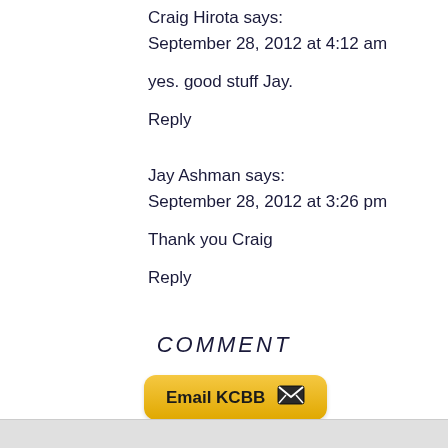Craig Hirota says:
September 28, 2012 at 4:12 am
yes. good stuff Jay.
Reply
Jay Ashman says:
September 28, 2012 at 3:26 pm
Thank you Craig
Reply
COMMENT
[Figure (other): Email KCBB button with envelope icon, yellow/gold rounded rectangle button]